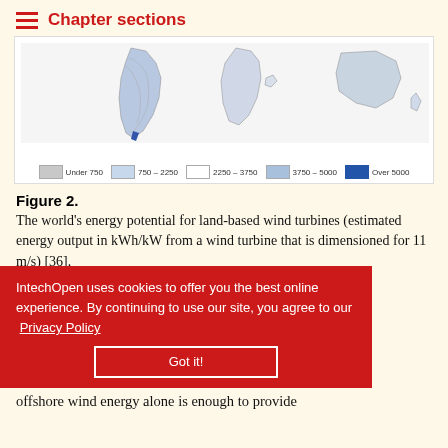Chapter sections
[Figure (map): World map showing energy potential for land-based wind turbines with legend: Under 750, 750-2250, 2250-3750, 3750-5000, Over 5000 kWh/kW]
Figure 2. The world's energy potential for land-based wind turbines (estimated energy output in kWh/kW from a wind turbine that is dimensioned for 11 m/s) [36].
...recognized as a main feasible source of renewables which can be utilized economically in large quantity. A world map for wind energy potential is illustrated in Fig. 2. Taking the United Kingdom for example, the usable offshore wind energy alone is enough to provide
IntechOpen uses cookies to offer you the best online experience. By continuing to use our site, you agree to our Privacy Policy  Got it!